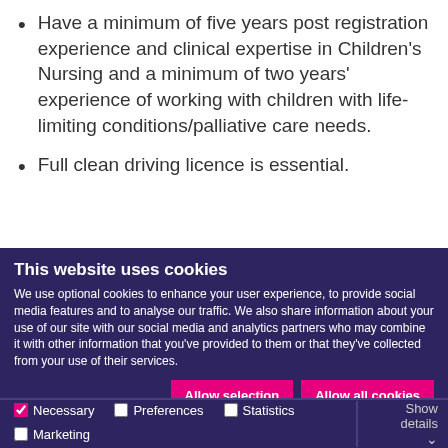Have a minimum of five years post registration experience and clinical expertise in Children's Nursing and a minimum of two years' experience of working with children with life-limiting conditions/palliative care needs.
Full clean driving licence is essential.
This website uses cookies
We use optional cookies to enhance your user experience, to provide social media features and to analyse our traffic. We also share information about your use of our site with our social media and analytics partners who may combine it with other information that you've provided to them or that they've collected from your use of their services.